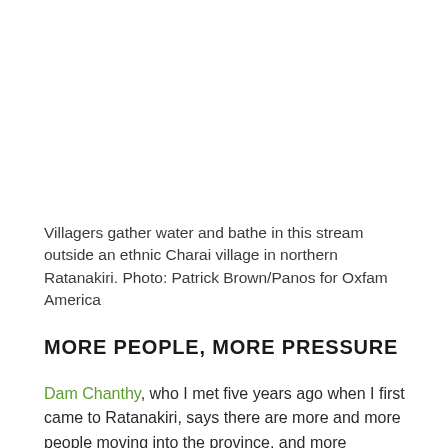Villagers gather water and bathe in this stream outside an ethnic Charai village in northern Ratanakiri. Photo: Patrick Brown/Panos for Oxfam America
MORE PEOPLE, MORE PRESSURE
Dam Chanthy, who I met five years ago when I first came to Ratanakiri, says there are more and more people moving into the province, and more pressure on indigenous people to sell their land.